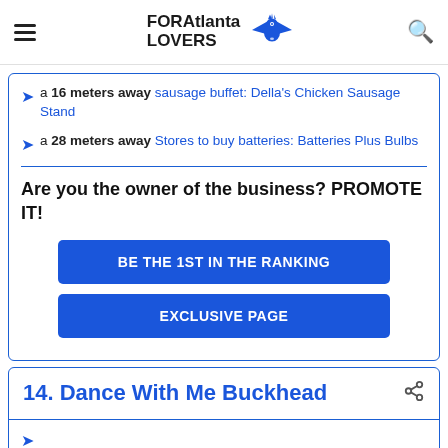FORAtlanta LOVERS
a 16 meters away sausage buffet: Della's Chicken Sausage Stand
a 28 meters away Stores to buy batteries: Batteries Plus Bulbs
Are you the owner of the business? PROMOTE IT!
BE THE 1ST IN THE RANKING
EXCLUSIVE PAGE
14. Dance With Me Buckhead